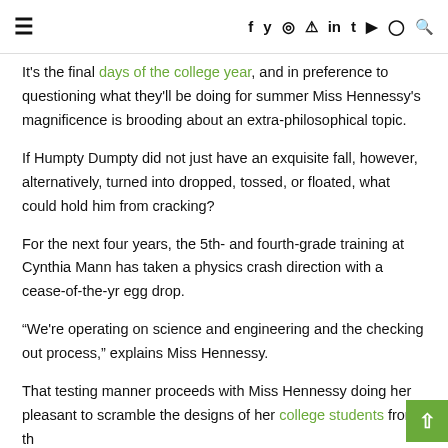☰  f  𝕏  Instagram  Pinterest  in  t  YouTube  Snapchat  🔍
It's the final days of the college year, and in preference to questioning what they'll be doing for summer Miss Hennessy's magnificence is brooding about an extra-philosophical topic.
If Humpty Dumpty did not just have an exquisite fall, however, alternatively, turned into dropped, tossed, or floated, what could hold him from cracking?
For the next four years, the 5th- and fourth-grade training at Cynthia Mann has taken a physics crash direction with a cease-of-the-yr egg drop.
“We're operating on science and engineering and the checking out process,” explains Miss Hennessy.
That testing manner proceeds with Miss Hennessy doing her pleasant to scramble the designs of her college students from th…